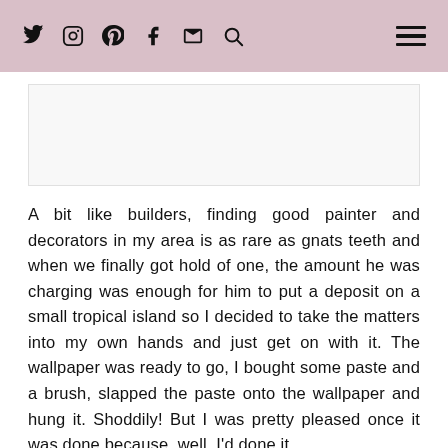Social media navigation bar with icons for Twitter, Instagram, Pinterest, Facebook, Email, Search, and a hamburger menu
[Figure (other): Advertisement or image placeholder box]
A bit like builders, finding good painter and decorators in my area is as rare as gnats teeth and when we finally got hold of one, the amount he was charging was enough for him to put a deposit on a small tropical island so I decided to take the matters into my own hands and just get on with it. The wallpaper was ready to go, I bought some paste and a brush, slapped the paste onto the wallpaper and hung it. Shoddily! But I was pretty pleased once it was done because, well, I'd done it.